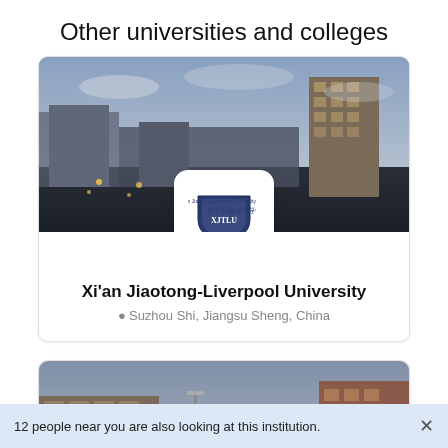Other universities and colleges
[Figure (photo): Campus aerial/evening photo of Xi'an Jiaotong-Liverpool University with university logo overlay]
Xi'an Jiaotong-Liverpool University
Suzhou Shi, Jiangsu Sheng, China
[Figure (photo): Street-level campus photo of a second university, partially visible]
12 people near you are also looking at this institution.